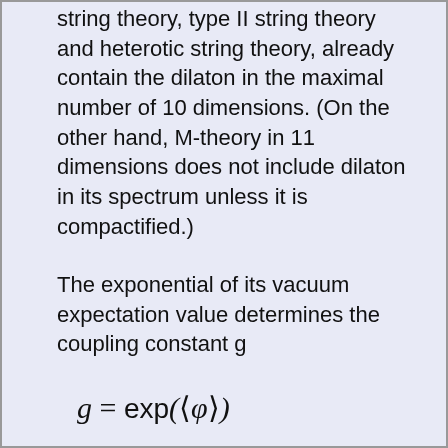string theory, type II string theory and heterotic string theory, already contain the dilaton in the maximal number of 10 dimensions. (On the other hand, M-theory in 11 dimensions does not include dilaton in its spectrum unless it is compactified.)
The exponential of its vacuum expectation value determines the coupling constant g
Therefore the coupling constant is a dynamical variable in string theory, unlike the case of quantum field theory where it is constant. As long as supersymmetry is